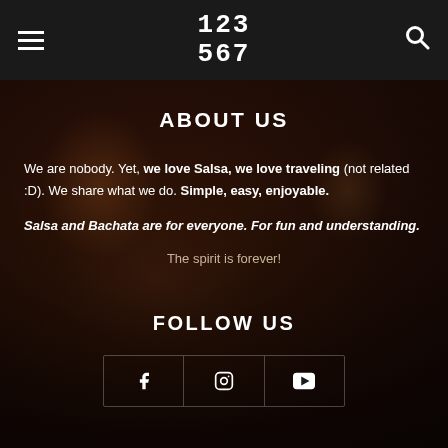123 567
ABOUT US
We are nobody. Yet, we love Salsa, we love traveling (not related :D). We share what we do. Simple, easy, enjoyable.
Salsa and Bachata are for everyone. For fun and understanding.
The spirit is forever!
FOLLOW US
[Figure (other): Social media icons: Facebook, Instagram, YouTube]